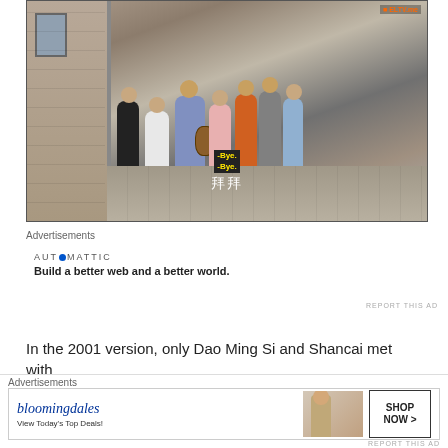[Figure (screenshot): Video screenshot showing group of young people on a street/sidewalk near a stone building, with Chinese subtitles. One person is playing guitar. Subtitles say '-Bye. -Bye.' in yellow and '拜拜' in white. Watermark reading 'ELTV.me' visible in top right corner.]
Advertisements
[Figure (other): Automattic advertisement: logo reads 'AUTOMATTIC' with circular blue dot replacing the 'O'. Tagline: 'Build a better web and a better world.']
REPORT THIS AD
In the 2001 version, only Dao Ming Si and Shancai met with
Harlem Yu and they did not stay to jam with him. For this
Advertisements
[Figure (other): Bloomingdale's advertisement banner. Logo in cursive italic blue, tagline 'View Today's Top Deals!', image of woman in large hat, and 'SHOP NOW >' button.]